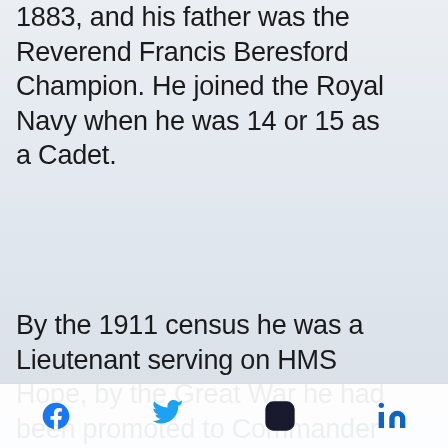1883, and his father was the Reverend Francis Beresford Champion. He joined the Royal Navy when he was 14 or 15 as a Cadet.
By the 1911 census he was a Lieutenant serving on HMS Hope, by the Great War he had been promoted to Commander in 1915 during which time he received the DSO for his gallantry during the Battle of Jutland. At the end of the Great War Cdr Champion seemed to suffer a nervous breakdown and did not sail again until 1920. He retired at his own request in
[Social media icons: Facebook, Twitter, Instagram, LinkedIn]